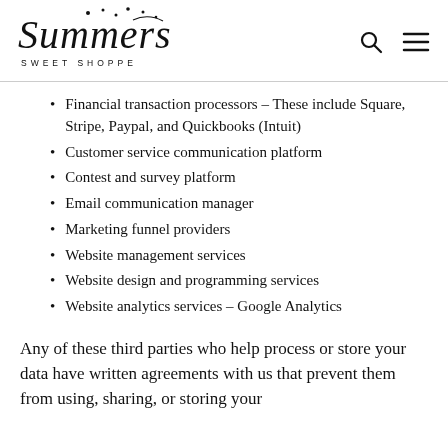Summers Sweet Shoppe
Financial transaction processors – These include Square, Stripe, Paypal, and Quickbooks (Intuit)
Customer service communication platform
Contest and survey platform
Email communication manager
Marketing funnel providers
Website management services
Website design and programming services
Website analytics services – Google Analytics
Any of these third parties who help process or store your data have written agreements with us that prevent them from using, sharing, or storing your